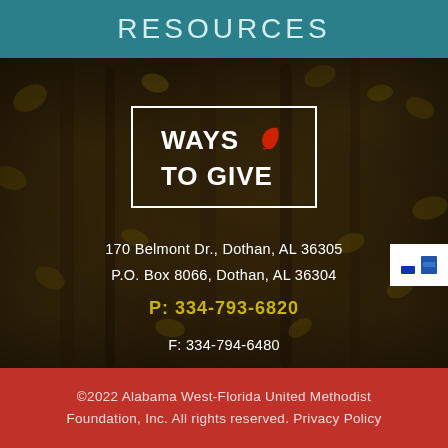RESOURCES
[Figure (illustration): Dark nature background with tree roots and autumn leaves, overlaid with a white-bordered box containing the text 'WAYS TO GIVE' with a red leaf logo icon, plus a small white logo badge in the bottom-right corner.]
170 Belmont Dr., Dothan, AL 36305
P.O. Box 8066, Dothan, AL 36304
P: 334-793-6820
F: 334-794-6480
©2022 Alabama West-Florida United Methodist Foundation, Inc. All rights reserved. Privacy Policy